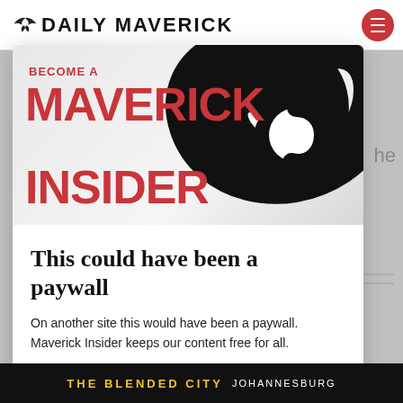DAILY MAVERICK
[Figure (illustration): Maverick Insider promotional banner with large red text BECOME A MAVERICK INSIDER and a large black and white spiral/swirl graphic in the background]
This could have been a paywall
On another site this would have been a paywall. Maverick Insider keeps our content free for all.
Become an Insider
THE BLENDED CITY JOHANNESBURG